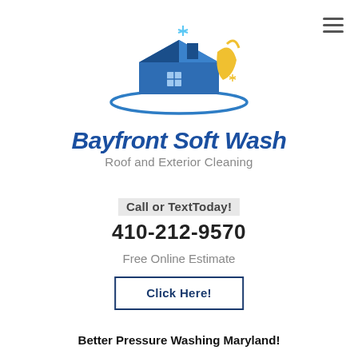[Figure (logo): Bayfront Soft Wash logo: a house with roof and a cleaning spray, blue and yellow colors with sparkle effects, and a blue arc underneath]
Bayfront Soft Wash
Roof and Exterior Cleaning
Call or TextToday!
410-212-9570
Free Online Estimate
Click Here!
Better Pressure Washing Maryland!